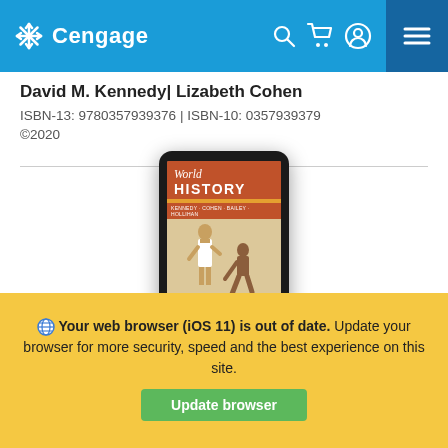Cengage
David M. Kennedy| Lizabeth Cohen
ISBN-13: 9780357939376 | ISBN-10: 0357939379
©2020
[Figure (illustration): Tablet/iPad displaying the cover of 'World History' textbook by David M. Kennedy and Lizabeth Cohen, showing ancient Egyptian figures on the cover.]
Your web browser (iOS 11) is out of date. Update your browser for more security, speed and the best experience on this site.
Update browser